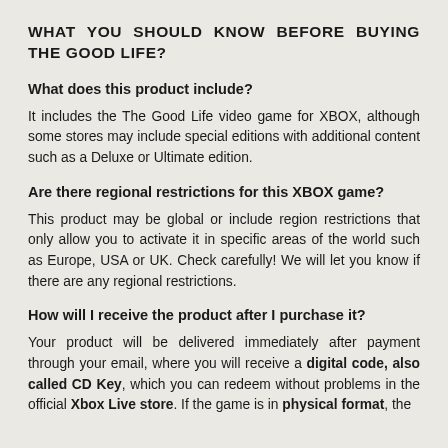WHAT YOU SHOULD KNOW BEFORE BUYING THE GOOD LIFE?
What does this product include?
It includes the The Good Life video game for XBOX, although some stores may include special editions with additional content such as a Deluxe or Ultimate edition.
Are there regional restrictions for this XBOX game?
This product may be global or include region restrictions that only allow you to activate it in specific areas of the world such as Europe, USA or UK. Check carefully! We will let you know if there are any regional restrictions.
How will I receive the product after I purchase it?
Your product will be delivered immediately after payment through your email, where you will receive a digital code, also called CD Key, which you can redeem without problems in the official Xbox Live store. If the game is in physical format, the